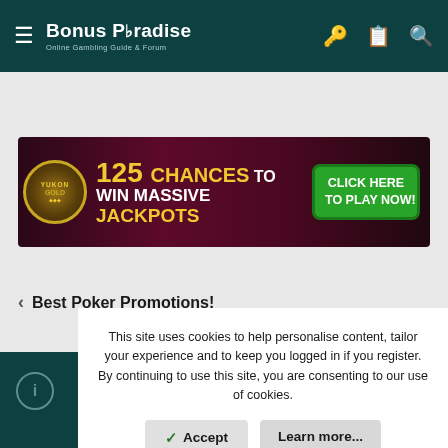Bonus Paradise — Online Gambling Guide & Forum
[Figure (infographic): Yukon Gold casino banner: 125 CHANCES TO WIN MASSIVE JACKPOTS — CLICK HERE TO PLAY NOW!]
< Best Poker Promotions!
This site uses cookies to help personalise content, tailor your experience and to keep you logged in if you register. By continuing to use this site, you are consenting to our use of cookies.
Accept   Learn more...